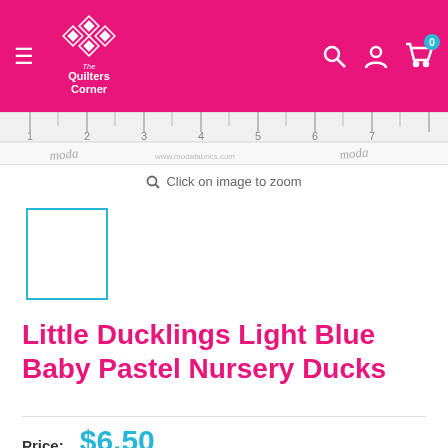The Quilters Corner — navigation header with logo, search, account, and cart icons
[Figure (screenshot): Moda fabric ruler/selvage strip image showing ruler markings and Moda cursive script logo with www.modafabrics.com URL]
Click on image to zoom
[Figure (photo): Small product thumbnail image placeholder with cyan/teal border]
Little Ducklings Light Blue Baby Pastel Nursery Ducks
Price: $6.50